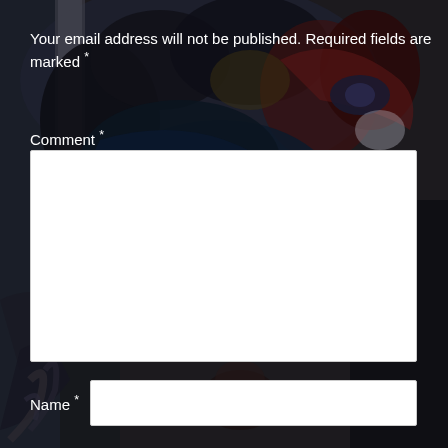Your email address will not be published. Required fields are marked *
Comment *
[Figure (illustration): Dark fantasy painting background showing dramatic figures with ravens/birds, dark robes, and moody atmospheric colors of deep blue, black, and red]
Name *